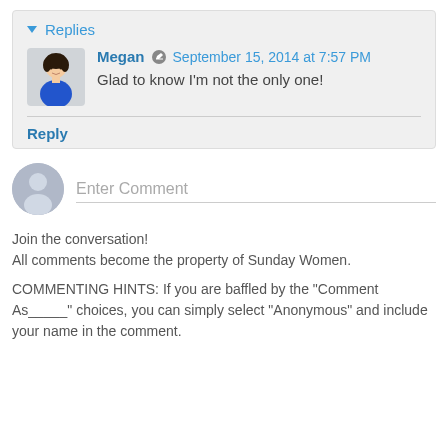Replies
Megan  September 15, 2014 at 7:57 PM
Glad to know I'm not the only one!
Reply
[Figure (screenshot): Generic user avatar icon for entering comment]
Enter Comment
Join the conversation!
All comments become the property of Sunday Women.
COMMENTING HINTS: If you are baffled by the "Comment As_____" choices, you can simply select "Anonymous" and include your name in the comment.